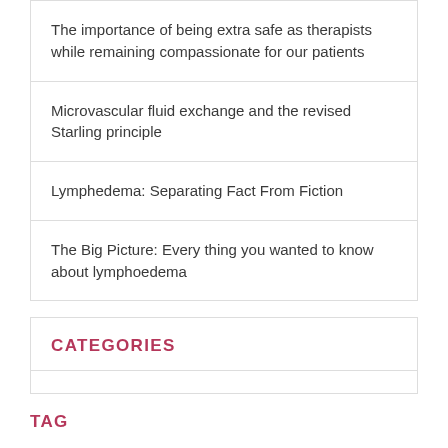The importance of being extra safe as therapists while remaining compassionate for our patients
Microvascular fluid exchange and the revised Starling principle
Lymphedema: Separating Fact From Fiction
The Big Picture: Every thing you wanted to know about lymphoedema
CATEGORIES
TAG